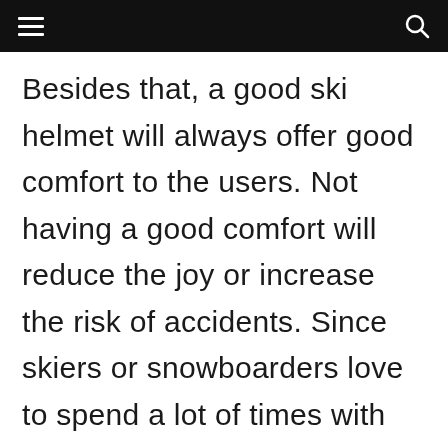Besides that, a good ski helmet will always offer good comfort to the users. Not having a good comfort will reduce the joy or increase the risk of accidents. Since skiers or snowboarders love to spend a lot of times with the helmets on, it’s very important to have the necessary comfort. Never buy a ski helmet which doesn’t provide the necessary comfort. Otherwise, you will regret it for not throwing some more money to get the